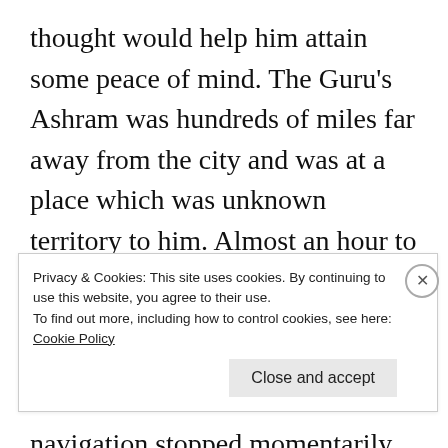thought would help him attain some peace of mind. The Guru's Ashram was hundreds of miles far away from the city and was at a place which was unknown territory to him. Almost an hour to the destination guided the support voice from the vehicle. He happily drove ahead for some more time.  The vehicle navigation stopped momentarily as he  came across a place where the path ahead twisted into opposite directions. On the left was a muddy patch that looked like
Privacy & Cookies: This site uses cookies. By continuing to use this website, you agree to their use.
To find out more, including how to control cookies, see here: Cookie Policy